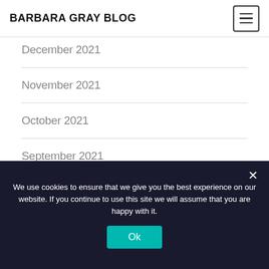BARBARA GRAY BLOG
December 2021
November 2021
October 2021
September 2021
August 2021
July 2021
June 2021
We use cookies to ensure that we give you the best experience on our website. If you continue to use this site we will assume that you are happy with it.
Ok